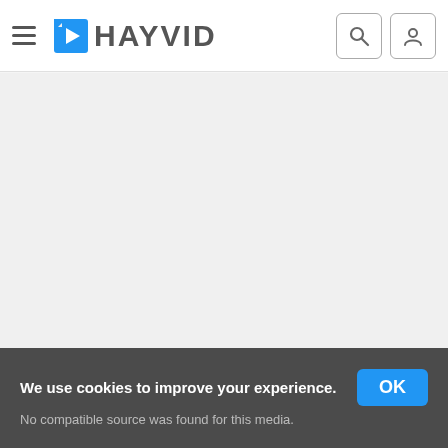HAYVID — navigation header with hamburger menu, logo, search icon, and user icon
[Figure (screenshot): Large empty light gray content area representing a video player with no loaded media]
We use cookies to improve your experience. OK
No compatible source was found for this media.